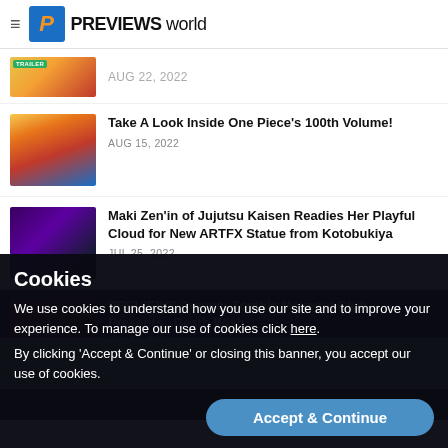PREVIEWS world
[Figure (screenshot): Partially visible article thumbnail with TRAILER badge]
Take A Look Inside One Piece's 100th Volume! AUG 15, 2022
Maki Zen'in of Jujutsu Kaisen Readies Her Playful Cloud for New ARTFX Statue from Kotobukiya JUL 25, 2022
PREVIEWS Prevue: Zombie Makeout Club Presents...Death Wish JUL 25, 2022
PREVIEWS EXCLUSIVES
Cookies
We use cookies to understand how you use our site and to improve your experience. To manage our use of cookies click here.
By clicking 'Accept & Continue' or closing this banner, you accept our use of cookies.